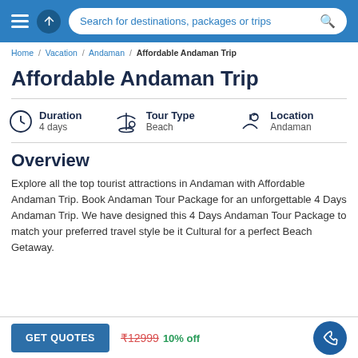Search for destinations, packages or trips
Home / Vacation / Andaman / Affordable Andaman Trip
Affordable Andaman Trip
Duration: 4 days | Tour Type: Beach | Location: Andaman
Overview
Explore all the top tourist attractions in Andaman with Affordable Andaman Trip. Book Andaman Tour Package for an unforgettable 4 Days Andaman Trip. We have designed this 4 Days Andaman Tour Package to match your preferred travel style be it Cultural for a perfect Beach Getaway.
GET QUOTES  ₹12999 10% off